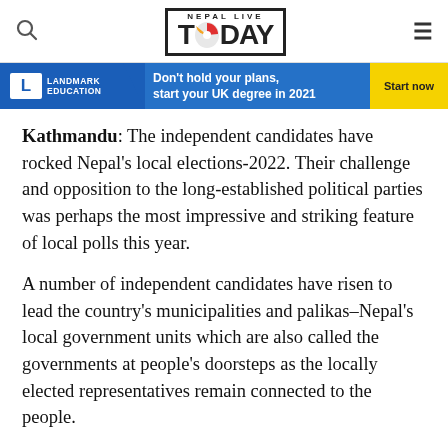Nepal Live Today
[Figure (infographic): Landmark Education advertisement banner with blue background, text 'Don't hold your plans, start your UK degree in 2021' and yellow 'Start now' button]
Kathmandu: The independent candidates have rocked Nepal's local elections-2022. Their challenge and opposition to the long-established political parties was perhaps the most impressive and striking feature of local polls this year.
A number of independent candidates have risen to lead the country's municipalities and palikas–Nepal's local government units which are also called the governments at people's doorsteps as the locally elected representatives remain connected to the people.
As many as 13 independent candidates won the top